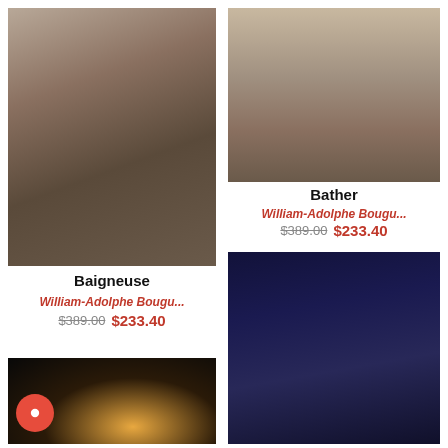[Figure (illustration): Classical painting 'Baigneuse' showing a nude female figure standing, by William-Adolphe Bouguereau]
Baigneuse
William-Adolphe Bougu...
$389.00  $233.40
[Figure (illustration): Classical painting 'Bather' showing legs of a nude figure from behind, by William-Adolphe Bouguereau]
Bather
William-Adolphe Bougu...
$389.00  $233.40
[Figure (illustration): Dark image showing a planetary or spherical body in space, partially visible at bottom-left]
[Figure (illustration): Classical painting showing figures in a bathhouse/hammam setting with a woman in blue robe and nude figures]